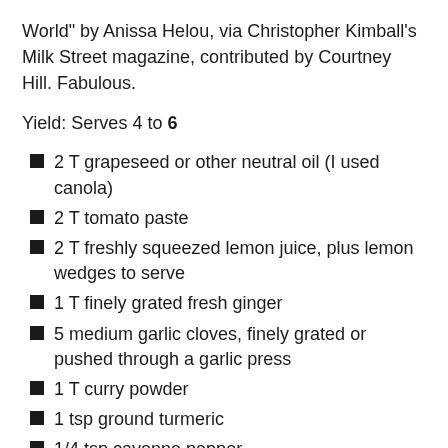World" by Anissa Helou, via Christopher Kimball's Milk Street magazine, contributed by Courtney Hill. Fabulous.
Yield: Serves 4 to 6
2 T grapeseed or other neutral oil (I used canola)
2 T tomato paste
2 T freshly squeezed lemon juice, plus lemon wedges to serve
1 T finely grated fresh ginger
5 medium garlic cloves, finely grated or pushed through a garlic press
1 T curry powder
1 tsp ground turmeric
1/4 tsp cayenne pepper
coarse salt and freshly ground black pepper
2 to 2 1/2 pounds boneless, skinless chicken thighs (or